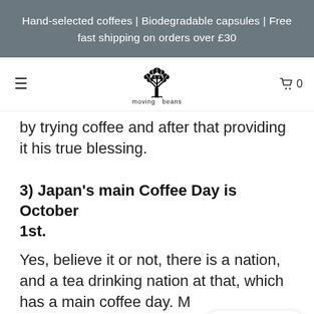Hand-selected coffees | Biodegradable capsules | Free fast shipping on orders over £30
[Figure (logo): Moving Beans logo — a stylized tree made of coffee beans with text 'moving beans' beneath it]
by trying coffee and after that providing it his true blessing.
3) Japan's main Coffee Day is October 1st.
Yes, believe it or not, there is a nation, and a tea drinking nation at that, which has a main coffee day. Maybe their nationals work more? We will never